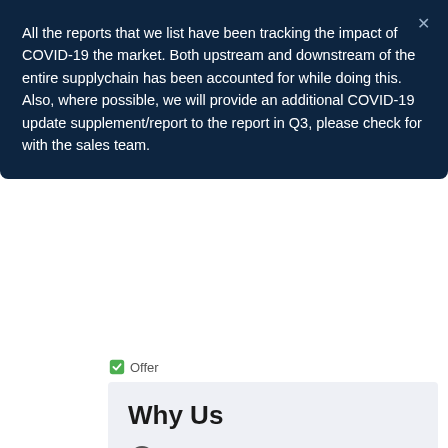All the reports that we list have been tracking the impact of COVID-19 the market. Both upstream and downstream of the entire supplychain has been accounted for while doing this. Also, where possible, we will provide an additional COVID-19 update supplement/report to the report in Q3, please check for with the sales team.
Offer
Why Us
In-depth database — Our Report's database covers almost all topics of all regions over the Globe..
Recognised publishing sources — Tie ups with top publishers around the globe.
Customer Support — Complete pre and post sales support.